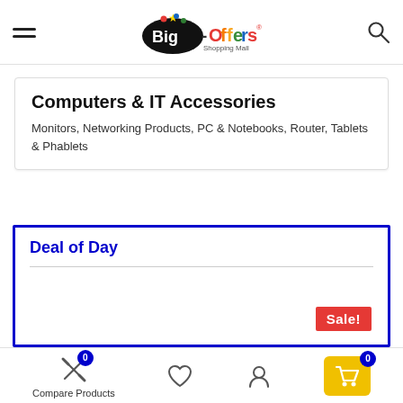Big-Offers Shopping Mall
Computers & IT Accessories
Monitors, Networking Products, PC & Notebooks, Router, Tablets & Phablets
Deal of Day
Sale!
Compare Products